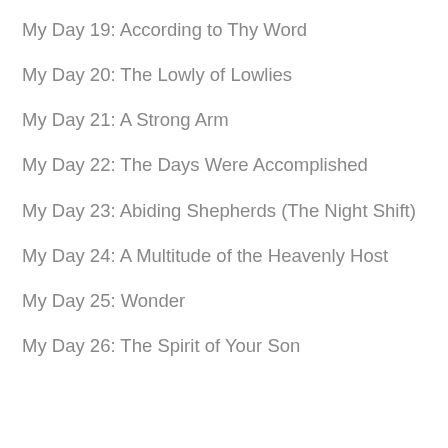My Day 19: According to Thy Word
My Day 20: The Lowly of Lowlies
My Day 21: A Strong Arm
My Day 22: The Days Were Accomplished
My Day 23: Abiding Shepherds (The Night Shift)
My Day 24: A Multitude of the Heavenly Host
My Day 25: Wonder
My Day 26: The Spirit of Your Son